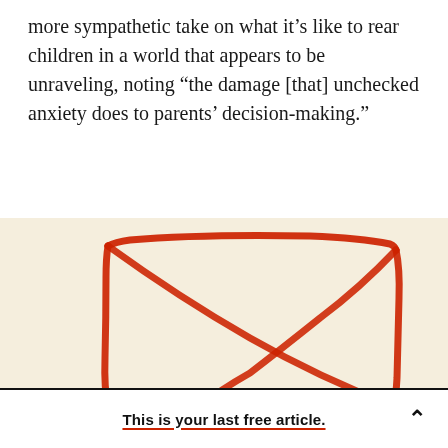more sympathetic take on what it’s like to rear children in a world that appears to be unraveling, noting “the damage [that] unchecked anxiety does to parents’ decision-making.”
[Figure (illustration): Illustration of a red crayon-drawn envelope or box shape on a cream/beige background, with diagonal lines forming an X inside a rectangular outline.]
This is your last free article.